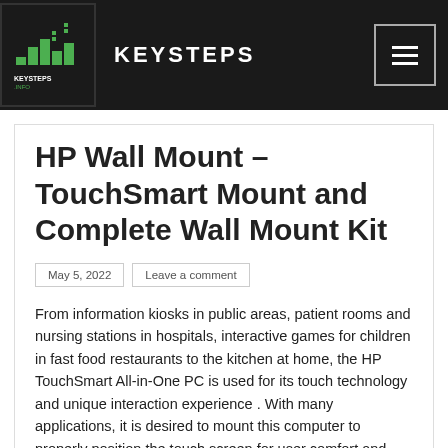KEYSTEPS
HP Wall Mount – TouchSmart Mount and Complete Wall Mount Kit
May 5, 2022   Leave a comment
From information kiosks in public areas, patient rooms and nursing stations in hospitals, interactive games for children in fast food restaurants to the kitchen at home, the HP TouchSmart All-in-One PC is used for its touch technology and unique interaction experience . With many applications, it is desired to mount this computer to properly position the touch screen for user comfort and enjoyment. Mounting also provides additional benefits such as saving space and providing a level of anti-theft security. Unlike a mounted TV or computer monitor, users